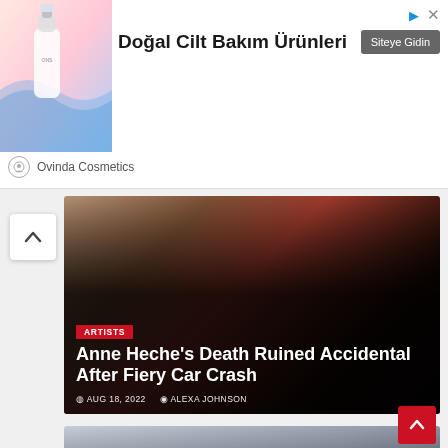[Figure (photo): Advertisement banner for Ovinda Cosmetics natural skincare products. Shows product bottle image on left, Turkish text 'Doğal Cilt Bakım Ürünleri' (Natural Skin Care Products) in center, 'Siteye Gidin' (Go to Site) button on right, with Ovinda Cosmetics brand name below.]
[Figure (photo): News article card showing Anne Heche photo with ARTISTS category tag and article title 'Anne Heche's Death Ruined Accidental After Fiery Car Crash', dated AUG 18, 2022 by ALEXA JOHNSON]
[Figure (photo): News article card showing Shawna Rene Blackstock photo with ARTISTS category tag and partial title 'Shawna Rene Blackstock']